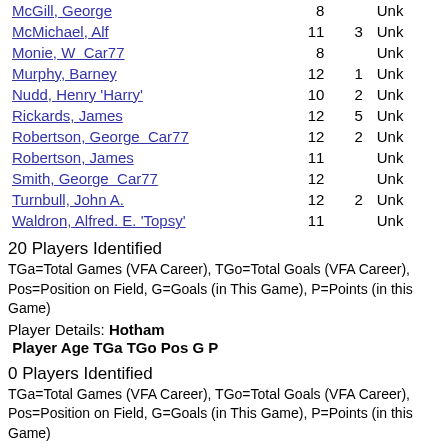| Player | TGa | TGo | Pos |
| --- | --- | --- | --- |
| McGill, George | 8 |  | Unk |
| McMichael, Alf | 11 | 3 | Unk |
| Monie, W  Car77 | 8 |  | Unk |
| Murphy, Barney | 12 | 1 | Unk |
| Nudd, Henry 'Harry' | 10 | 2 | Unk |
| Rickards, James | 12 | 5 | Unk |
| Robertson, George  Car77 | 12 | 2 | Unk |
| Robertson, James | 11 |  | Unk |
| Smith, George  Car77 | 12 |  | Unk |
| Turnbull, John A. | 12 | 2 | Unk |
| Waldron, Alfred. E. 'Topsy' | 11 |  | Unk |
20 Players Identified
TGa=Total Games (VFA Career), TGo=Total Goals (VFA Career), Pos=Position on Field, G=Goals (in This Game), P=Points (in this Game)
Player Details: Hotham
Player Age TGa TGo Pos G P
0 Players Identified
TGa=Total Games (VFA Career), TGo=Total Goals (VFA Career), Pos=Position on Field, G=Goals (in This Game), P=Points (in this Game)
Game Details